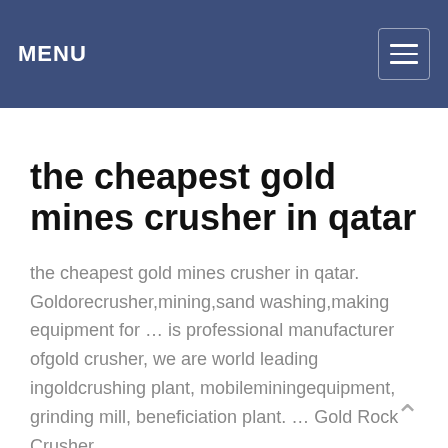MENU
the cheapest gold mines crusher in qatar
the cheapest gold mines crusher in qatar. Goldorecrusher,mining,sand washing,making equipment for … is professional manufacturer ofgold crusher, we are world leading ingoldcrushing plant, mobileminingequipment, grinding mill, beneficiation plant. … Gold Rock Crusher …